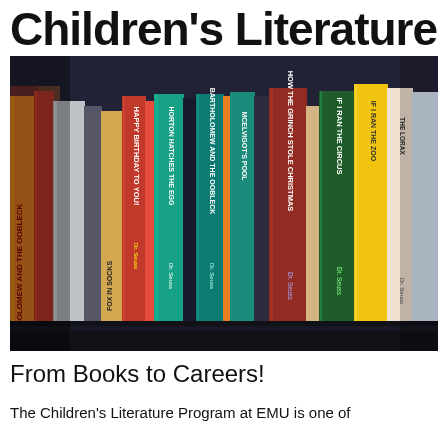Children's Literature
[Figure (photo): Photograph of children's books standing upright on a shelf, showing spines of various Dr. Seuss books including Happy Birthday to You, How the Grinch Stole Christmas, If I Ran the Circus, Fox in Socks, and others, in colorful reds, greens, teals, yellows, and blues.]
From Books to Careers!
The Children's Literature Program at EMU is one of